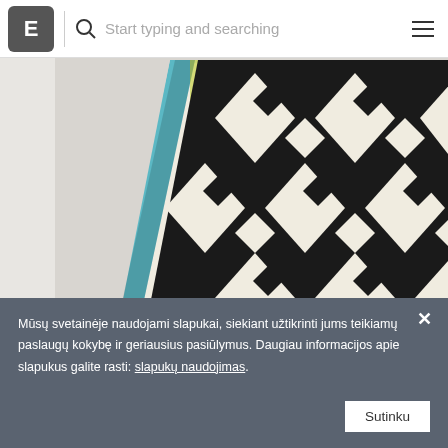E | Start typing and searching
[Figure (photo): A black and white geometric patterned rug/textile with diamond/aztec motifs, leaning against a white wall]
Mūsų svetainėje naudojami slapukai, siekiant užtikrinti jums teikiamų paslaugų kokybę ir geriausius pasiūlymus. Daugiau informacijos apie slapukus galite rasti: slapukų naudojimas.
Sutinku